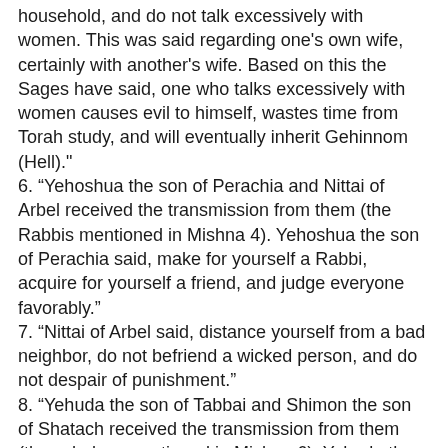household, and do not talk excessively with women. This was said regarding one's own wife, certainly with another's wife. Based on this the Sages have said, one who talks excessively with women causes evil to himself, wastes time from Torah study, and will eventually inherit Gehinnom (Hell)."
6. “Yehoshua the son of Perachia and Nittai of Arbel received the transmission from them (the Rabbis mentioned in Mishna 4). Yehoshua the son of Perachia said, make for yourself a Rabbi, acquire for yourself a friend, and judge everyone favorably.”
7. “Nittai of Arbel said, distance yourself from a bad neighbor, do not befriend a wicked person, and do not despair of punishment.”
8. “Yehuda the son of Tabbai and Shimon the son of Shatach received the transmission from them (the scholars mentioned in Mishna 6). Yehuda the son of Tabbai said, do not act as an adviser to judges. When the litigants are standing before you they should be in your eyes as guilty. When they are dismissed from before you they should be in your eyes as innocent, provided they have accepted the judgment.”
9. “Shimon the son of Shatach said, examine witnesses thoroughly, and be careful with your words, lest through them they learn to lie.”